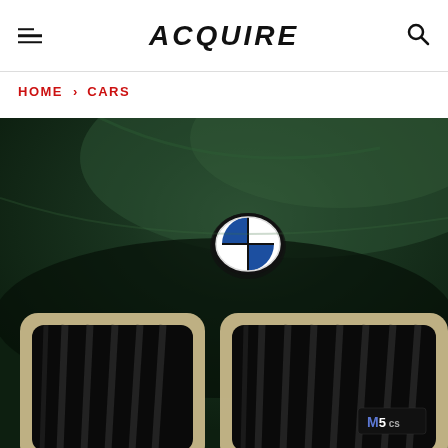ACQUIRE
HOME > CARS
[Figure (photo): Close-up photograph of a dark green BMW M5 CS front hood and kidney grille. The large double-kidney grille with gold/champagne trim frames vertical black slats. The BMW roundel logo is visible on the hood. An M5 CS badge is visible on the right grille. The hood is finished in a dark British Racing Green matte color.]